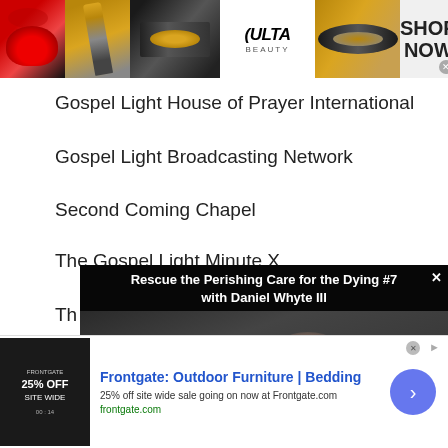[Figure (photo): Top banner advertisement for ULTA Beauty featuring makeup images, lips, eye makeup, brush, ULTA logo, and 'SHOP NOW' text]
Gospel Light House of Prayer International
Gospel Light Broadcasting Network
Second Coming Chapel
The Gospel Light Minute X
Th...
Th...
Th...
[Figure (screenshot): Video popup overlay: 'Rescue the Perishing Care for the Dying #7 with Daniel Whyte III' showing a man's face in dark video thumbnail with close X button]
[Figure (photo): Bottom advertisement for Frontgate: Outdoor Furniture | Bedding, 25% off site wide sale going on now at Frontgate.com, with store image, text, and navigation arrow]